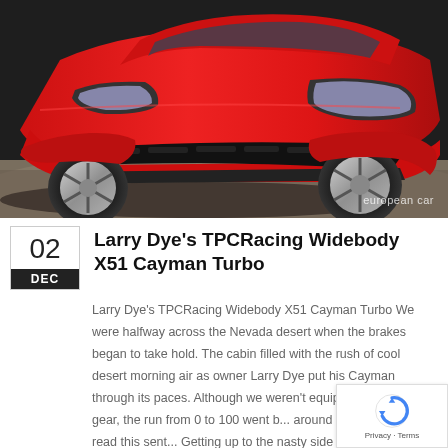[Figure (photo): Front view of a red sports car (Porsche Cayman) with a widebody kit, photographed from a low angle on a road or track surface. The car has a prominent front splitter and large wheels. Watermark reads 'european car' in the lower right corner.]
Larry Dye's TPCRacing Widebody X51 Cayman Turbo
Larry Dye's TPCRacing Widebody X51 Cayman Turbo We were halfway across the Nevada desert when the brakes began to take hold. The cabin filled with the rush of cool desert morning air as owner Larry Dye put his Cayman through its paces. Although we weren't equipped with timing gear, the run from 0 to 100 went b... around the time it takes to read this sent... Getting up to the nasty side of 120 wouldn't